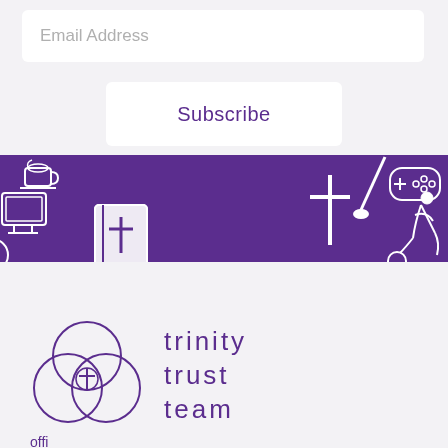Email Address
Subscribe
[Figure (illustration): Purple banner section with white icons: coffee cup, computer/monitor, Bible with cross, baseball bat, game controller, cross symbol, soccer player kicking ball]
[Figure (logo): Trinity Trust Team logo with three interlocking circles containing a cross symbol, and text reading Trinity Trust Team]
offi...